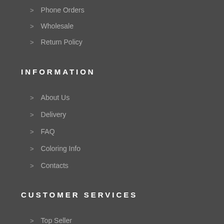Phone Orders
Wholesale
Return Policy
INFORMATION
About Us
Delivery
FAQ
Coloring Info
Contacts
CUSTOMER SERVICES
Top Seller
Wigs
Getting Started
Host a Party